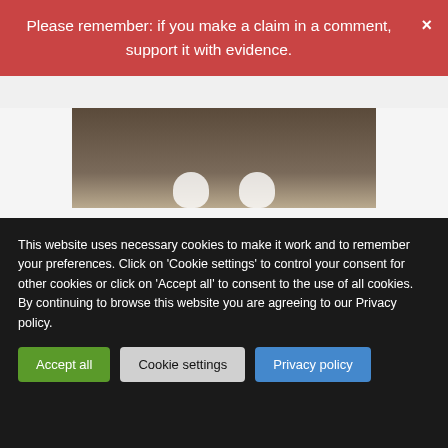Please remember: if you make a claim in a comment, support it with evidence.
[Figure (photo): Photo showing feet/shoes on dark ground surface]
"Having a sexy body is always what I wanted. But what I can only do is light exercise. So I decided to use this Hourglass S-line Waist Slimming Patch. In just a week my body felt light. I still have a medium-sized belly but I'll keep trying. Improvement is important and I see it with this product."
Week 4
[Figure (photo): Photo showing top of person's head with dark hair]
This website uses necessary cookies to make it work and to remember your preferences. Click on 'Cookie settings' to control your consent for other cookies or click on 'Accept all' to consent to the use of all cookies. By continuing to browse this website you are agreeing to our Privacy policy.